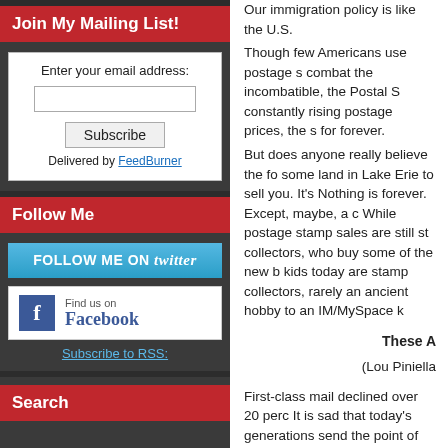Join My Mailing List!
Enter your email address:
Subscribe
Delivered by FeedBurner
Follow Me
[Figure (other): Follow Me on Twitter button]
[Figure (other): Find us on Facebook box]
Subscribe to RSS:
Search
Our immigration policy is like the U.S. Though few Americans use postage s combat the incombatible, the Postal S constantly rising postage prices, the s for forever.
But does anyone really believe the fo some land in Lake Erie to sell you. It's Nothing is forever. Except, maybe, a c While postage stamp sales are still st collectors, who buy some of the new b kids today are stamp collectors, rarely an ancient hobby to an IM/MySpace k
These A
(Lou Piniella
First-class mail declined over 20 perc It is sad that today's generations send the point of extinction. That day and a But it is what it is. Technology kills ma adapt to changing conditions or die. A fight against market trends in any in